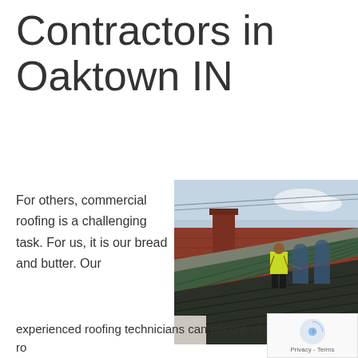Contractors in Oaktown IN
For others, commercial roofing is a challenging task. For us, it is our bread and butter. Our
[Figure (photo): A roofing contractor in a yellow safety vest and harness standing on a green metal roof of a brick building, working on roofing project.]
experienced roofing technicians can handle all kinds of roofing projects in Indiana. Here are a few reasons why our services